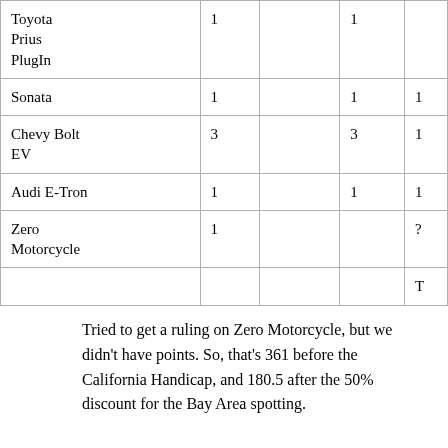| Toyota Prius PlugIn | 1 |  | 1 |  |
| Sonata | 1 |  | 1 | 1 |
| Chevy Bolt EV | 3 |  | 3 | 1 |
| Audi E-Tron | 1 |  | 1 | 1 |
| Zero Motorcycle | 1 |  |  | ? |
|  |  |  |  | T |
Tried to get a ruling on Zero Motorcycle, but we didn't have points. So, that's 361 before the California Handicap, and 180.5 after the 50% discount for the Bay Area spotting.